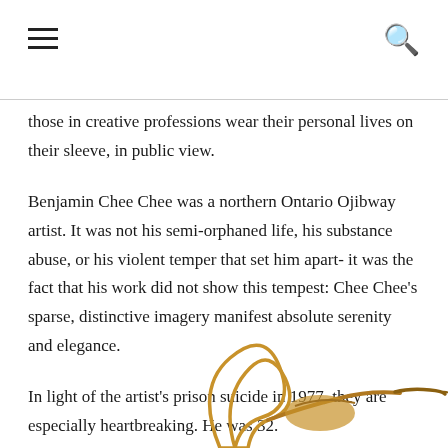those in creative professions wear their personal lives on their sleeve, in public view.
Benjamin Chee Chee was a northern Ontario Ojibway artist. It was not his semi-orphaned life, his substance abuse, or his violent temper that set him apart- it was the fact that his work did not show this tempest: Chee Chee's sparse, distinctive imagery manifest absolute serenity and elegance.
In light of the artist's prison suicide in 1977, they are especially heartbreaking. He was 32.
[Figure (illustration): Partial illustration of stylized birds (geese or cranes) in golden/amber colors, characteristic of Chee Chee's sparse artistic style, visible at the bottom of the page.]